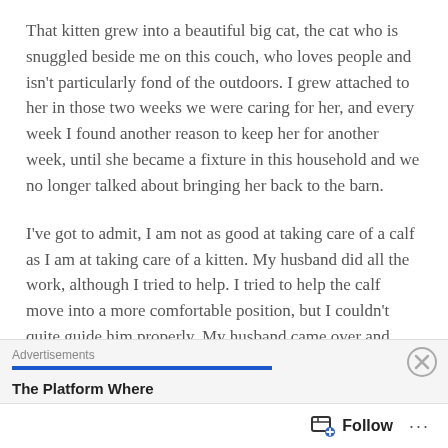That kitten grew into a beautiful big cat, the cat who is snuggled beside me on this couch, who loves people and isn't particularly fond of the outdoors. I grew attached to her in those two weeks we were caring for her, and every week I found another reason to keep her for another week, until she became a fixture in this household and we no longer talked about bringing her back to the barn.
I've got to admit, I am not as good at taking care of a calf as I am at taking care of a kitten. My husband did all the work, although I tried to help. I tried to help the calf move into a more comfortable position, but I couldn't quite guide him properly. My husband came over and deftly moved the calf's legs and head so they were better
Advertisements
The Platform Where